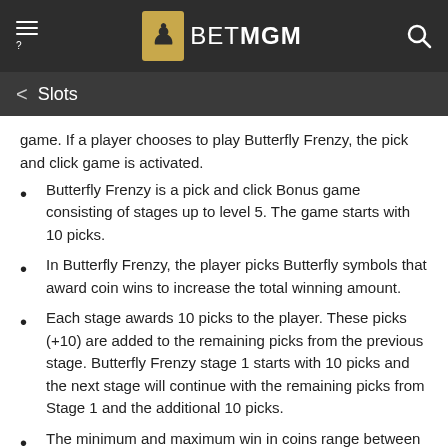BetMGM
Slots
game. If a player chooses to play Butterfly Frenzy, the pick and click game is activated.
Butterfly Frenzy is a pick and click Bonus game consisting of stages up to level 5. The game starts with 10 picks.
In Butterfly Frenzy, the player picks Butterfly symbols that award coin wins to increase the total winning amount.
Each stage awards 10 picks to the player. These picks (+10) are added to the remaining picks from the previous stage. Butterfly Frenzy stage 1 starts with 10 picks and the next stage will continue with the remaining picks from Stage 1 and the additional 10 picks.
The minimum and maximum win in coins range between x0.4 to x5 times the bet for each pick depending on the stage level.
During Butterfly Frenzy, the player may pick special Butterfly